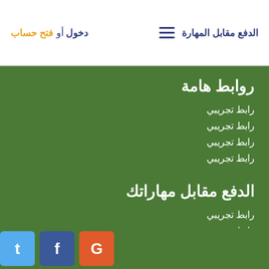الدفع مقابل المهارة  دخول أو فتح حساب
روابط هامة
رابط تجريبي
رابط تجريبي
رابط تجريبي
رابط تجريبي
الدفع مقابل مهاراتك
رابط تجريبي
رابط تجريبي
رابط تجريبي
رابط تجريبي